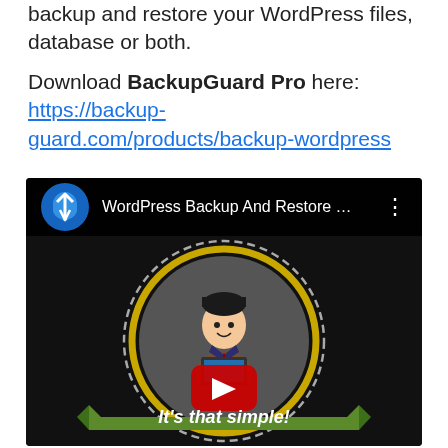backup and restore your WordPress files, database or both.
Download BackupGuard Pro here: https://backup-guard.com/products/backup-wordpress
[Figure (screenshot): YouTube video thumbnail for 'WordPress Backup And Restore ...' showing a cartoon man with a laptop inside a gold-ringed dashed circle badge with a red YouTube play button and a green ribbon banner reading 'It's that simple!']